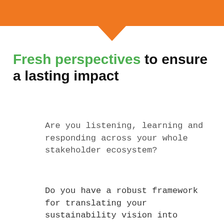Fresh perspectives to ensure a lasting impact
Are you listening, learning and responding across your whole stakeholder ecosystem?
Do you have a robust framework for translating your sustainability vision into action on the ground?